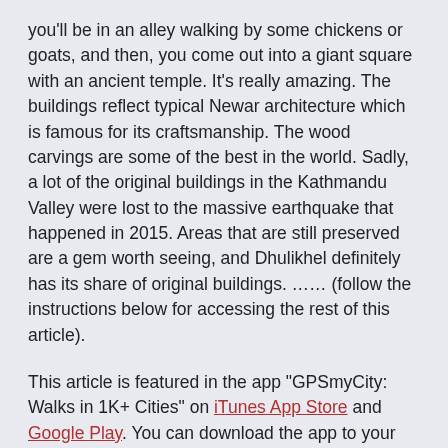you'll be in an alley walking by some chickens or goats, and then, you come out into a giant square with an ancient temple. It's really amazing. The buildings reflect typical Newar architecture which is famous for its craftsmanship. The wood carvings are some of the best in the world. Sadly, a lot of the original buildings in the Kathmandu Valley were lost to the massive earthquake that happened in 2015. Areas that are still preserved are a gem worth seeing, and Dhulikhel definitely has its share of original buildings. …… (follow the instructions below for accessing the rest of this article).
This article is featured in the app "GPSmyCity: Walks in 1K+ Cities" on iTunes App Store and Google Play. You can download the app to your mobile device to read the article offline and create a self-guided walking tour to visit the attractions featured in this article. The app turns your mobile device into a personal tour guide and it works offline, so no